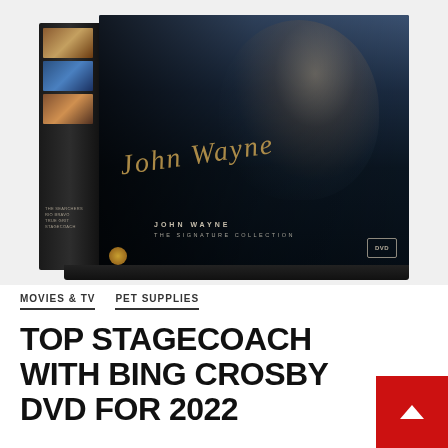[Figure (photo): John Wayne The Signature Collection DVD box set against white background. Dark blue/black box with John Wayne's portrait on the front, gold cursive signature, 'JOHN WAYNE' and 'THE SIGNATURE COLLECTION' text, DVD logo. Spine shows movie thumbnails and film titles.]
MOVIES & TV   PET SUPPLIES
TOP STAGECOACH WITH BING CROSBY DVD FOR 2022